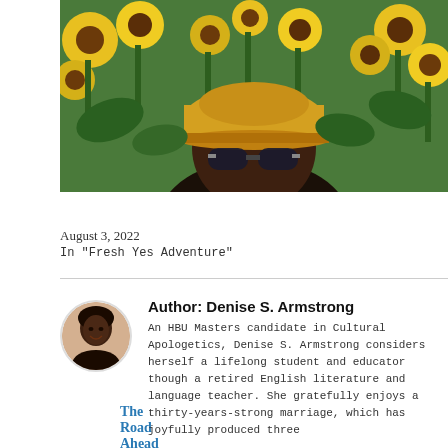[Figure (photo): Person wearing a yellow/tan baseball cap and sunglasses, photographed in a field of sunflowers with yellow blooms and green leaves in the background.]
The Road Ahead
August 3, 2022
In "Fresh Yes Adventure"
[Figure (photo): Circular avatar/headshot of Denise S. Armstrong, a smiling woman.]
Author: Denise S. Armstrong
An HBU Masters candidate in Cultural Apologetics, Denise S. Armstrong considers herself a lifelong student and educator though a retired English literature and language teacher. She gratefully enjoys a thirty-years-strong marriage, which has joyfully produced three